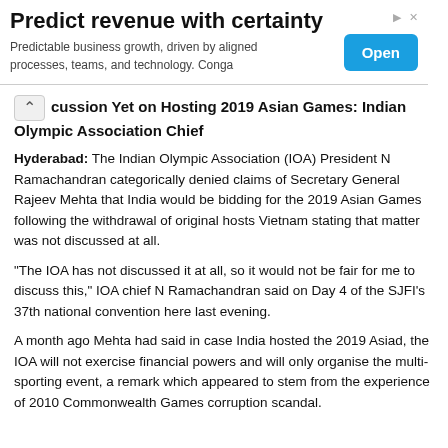[Figure (other): Advertisement banner: 'Predict revenue with certainty' with subtitle 'Predictable business growth, driven by aligned processes, teams, and technology. Conga' and an 'Open' button on the right.]
cussion Yet on Hosting 2019 Asian Games: Indian Olympic Association Chief
Hyderabad: The Indian Olympic Association (IOA) President N Ramachandran categorically denied claims of Secretary General Rajeev Mehta that India would be bidding for the 2019 Asian Games following the withdrawal of original hosts Vietnam stating that matter was not discussed at all.
"The IOA has not discussed it at all, so it would not be fair for me to discuss this," IOA chief N Ramachandran said on Day 4 of the SJFI's 37th national convention here last evening.
A month ago Mehta had said in case India hosted the 2019 Asiad, the IOA will not exercise financial powers and will only organise the multi-sporting event, a remark which appeared to stem from the experience of 2010 Commonwealth Games corruption scandal.